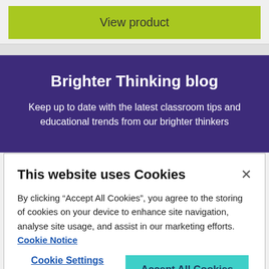[Figure (screenshot): Green 'View product' button bar on light gray background]
[Figure (screenshot): Purple 'Brighter Thinking blog' section with white text subtitle beginning 'Keep up to date with the latest classroom tips and educational trends from our brighter thinkers']
This website uses Cookies
By clicking “Accept All Cookies”, you agree to the storing of cookies on your device to enhance site navigation, analyse site usage, and assist in our marketing efforts.  Cookie Notice
Cookie Settings
Accept All Cookies